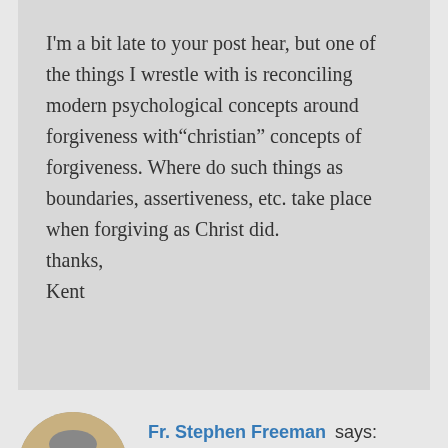I'm a bit late to your post hear, but one of the things I wrestle with is reconciling modern psychological concepts around forgiveness with“christian” concepts of forgiveness. Where do such things as boundaries, assertiveness, etc. take place when forgiving as Christ did.

thanks,
Kent
[Figure (photo): Circular avatar photo of Fr. Stephen Freeman, a bearded man with gray beard and dark clothing]
Fr. Stephen Freeman says:
December 28, 2021 at 2:45 pm